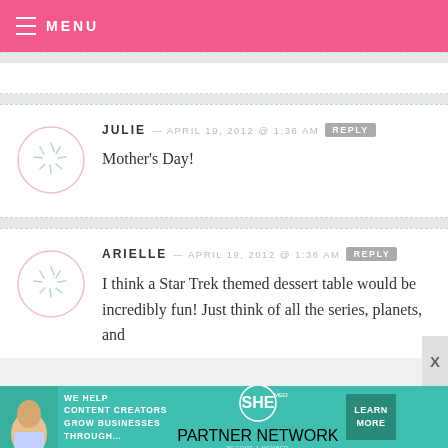MENU
JULIE — APRIL 19, 2012 @ 1:36 AM  REPLY
Mother's Day!
ARIELLE — APRIL 19, 2012 @ 1:36 AM  REPLY
I think a Star Trek themed dessert table would be incredibly fun! Just think of all the series, planets, and
[Figure (infographic): SHE Media partner network advertisement banner]